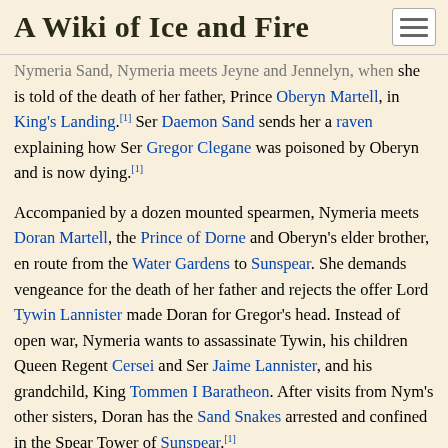A Wiki of Ice and Fire
Nymeria Sand, Nymeria meets Jeyne and Jennelyn, when she is told of the death of her father, Prince Oberyn Martell, in King's Landing.[1] Ser Daemon Sand sends her a raven explaining how Ser Gregor Clegane was poisoned by Oberyn and is now dying.[1]
Accompanied by a dozen mounted spearmen, Nymeria meets Doran Martell, the Prince of Dorne and Oberyn's elder brother, en route from the Water Gardens to Sunspear. She demands vengeance for the death of her father and rejects the offer Lord Tywin Lannister made Doran for Gregor's head. Instead of open war, Nymeria wants to assassinate Tywin, his children Queen Regent Cersei and Ser Jaime Lannister, and his grandchild, King Tommen I Baratheon. After visits from Nym's other sisters, Doran has the Sand Snakes arrested and confined in the Spear Tower of Sunspear.[1]
A Dance with Dragons
Nymeria and her sisters are released and are present at the feast at Sunspear when Ser Balon Swann presents the Mountain's skull to Doran. Balon seems discomforted by her silk gown. When Balon